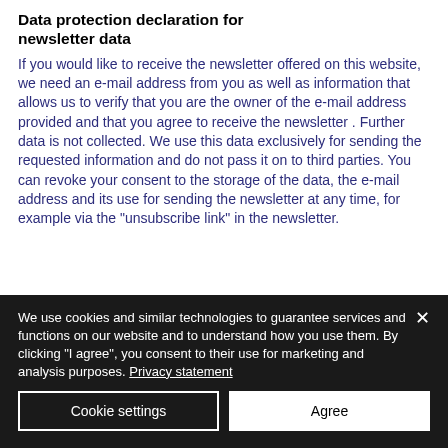Data protection declaration for newsletter data
If you would like to receive the newsletter offered on this website, we need an e-mail address from you as well as information that allows us to verify that you are the owner of the e-mail address provided and that you agree to receive the newsletter . Further data is not collected. We use this data exclusively for sending the requested information and do not pass it on to third parties. You can revoke your consent to the storage of the data, the e-mail address and its use for sending the newsletter at any time, for example via the "unsubscribe link" in the newsletter.
We use cookies and similar technologies to guarantee services and functions on our website and to understand how you use them. By clicking &quot;I agree&quot;, you consent to their use for marketing and analysis purposes. Privacy statement